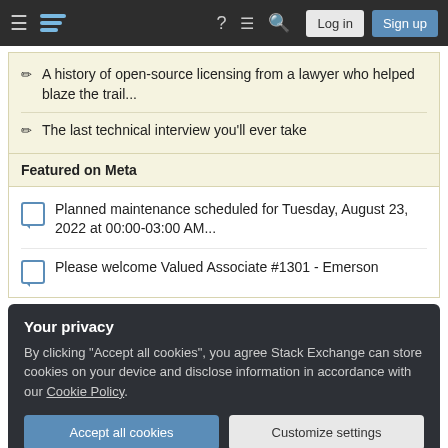Stack Exchange navigation bar with hamburger menu, logo, help, chat, search icons, Log in and Sign up buttons
A history of open-source licensing from a lawyer who helped blaze the trail...
The last technical interview you'll ever take
Featured on Meta
Planned maintenance scheduled for Tuesday, August 23, 2022 at 00:00-03:00 AM...
Please welcome Valued Associate #1301 - Emerson
Your privacy
By clicking "Accept all cookies", you agree Stack Exchange can store cookies on your device and disclose information in accordance with our Cookie Policy.
Accept all cookies   Customize settings
an extra hour for confirmations to prevent a double spend?